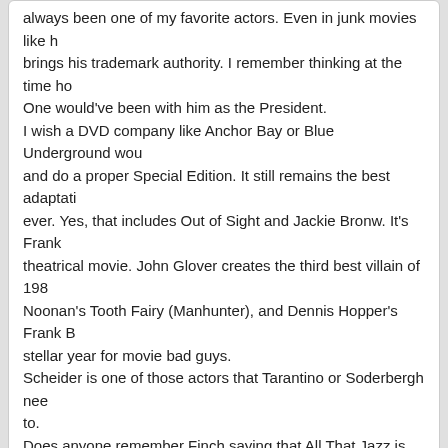always been one of my favorite actors. Even in junk movies like he brings his trademark authority. I remember thinking at the time how One would've been with him as the President. I wish a DVD company like Anchor Bay or Blue Underground would and do a proper Special Edition. It still remains the best adaptatio ever. Yes, that includes Out of Sight and Jackie Bronw. It's Frank theatrical movie. John Glover creates the third best villain of 198 Noonan's Tooth Fairy (Manhunter), and Dennis Hopper's Frank B stellar year for movie bad guys. Scheider is one of those actors that Tarantino or Soderbergh need to. Does anyone remember Finch saying that All That Jazz is the mo as a director. (it's in the Wazman book.) If you think about it this Fosse was one of the greatest directors with one of the smallest All That Jazz, and Star 80 are all masterworks. Any director woul four titles on their list.
Jimmy the Gent says:
June 5, 2006 at 12:32 am

I meant Fincher.